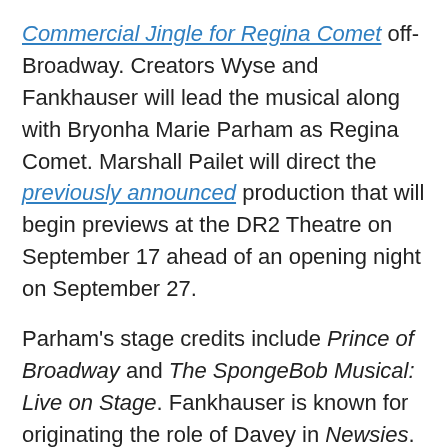Commercial Jingle for Regina Comet off-Broadway. Creators Wyse and Fankhauser will lead the musical along with Bryonha Marie Parham as Regina Comet. Marshall Pailet will direct the previously announced production that will begin previews at the DR2 Theatre on September 17 ahead of an opening night on September 27.
Parham's stage credits include Prince of Broadway and The SpongeBob Musical: Live on Stage. Fankhauser is known for originating the role of Davey in Newsies. Wyse, a co-creator of the hit series Indoor Boys, has appeared on Broadway in Waitress, Spring Awakening and Lysistrata Jones.
Two nobodies dream of writing one hit song, but their day job composing jingles for commercials isn't the big break they hoped. That is, until they're plucked from...